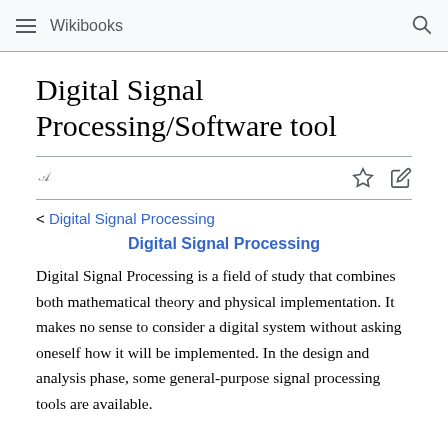Wikibooks
Digital Signal Processing/Software tool
< Digital Signal Processing
Digital Signal Processing
Digital Signal Processing is a field of study that combines both mathematical theory and physical implementation. It makes no sense to consider a digital system without asking oneself how it will be implemented. In the design and analysis phase, some general-purpose signal processing tools are available.